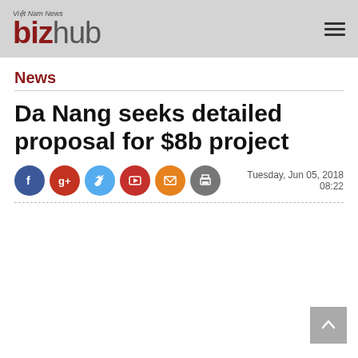Việt Nam News bizhub
News
Da Nang seeks detailed proposal for $8b project
Tuesday, Jun 05, 2018 08:22